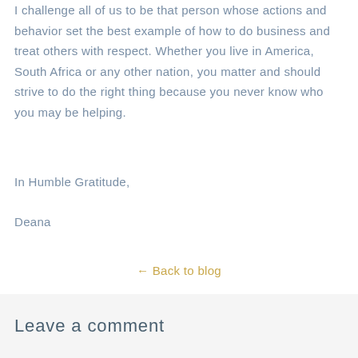I challenge all of us to be that person whose actions and behavior set the best example of how to do business and treat others with respect. Whether you live in America, South Africa or any other nation, you matter and should strive to do the right thing because you never know who you may be helping.
In Humble Gratitude,
Deana
← Back to blog
Leave a comment